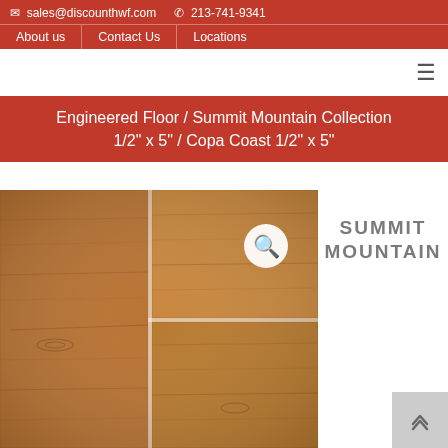sales@discounthwf.com  213-741-9341  About us | Contact Us | Locations
Engineered Floor / Summit Mountain Collection 1/2" x 5" / Copa Coast 1/2" x 5"
[Figure (photo): Wood flooring planks showing warm brown/golden hardwood engineered floor boards with a magnifying glass search icon overlay]
SUMMIT MOUNTAIN